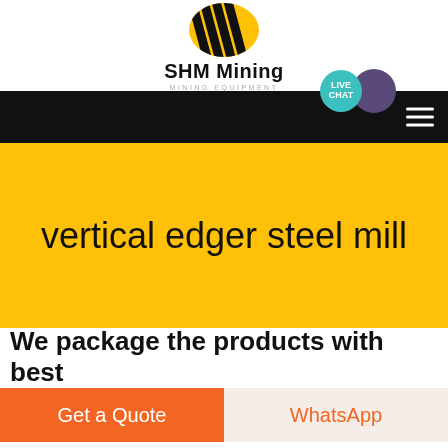[Figure (logo): SHM Mining logo with black diagonal stripes on yellow oval background, bold text 'SHM Mining' and subtitle 'MINING EQUIPMENT']
vertical edger steel mill
We package the products with best
Get a Quote
WhatsApp